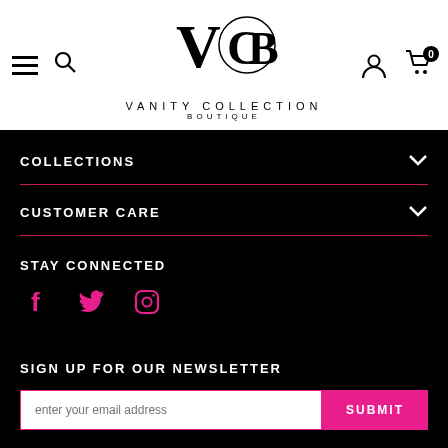[Figure (logo): Vanity Collection Boutique logo with stylized VCB monogram and text]
COLLECTIONS
CUSTOMER CARE
STAY CONNECTED
[Figure (illustration): Social media icons: Facebook, Twitter, Instagram in pink]
SIGN UP FOR OUR NEWSLETTER
enter your email address
SUBMIT